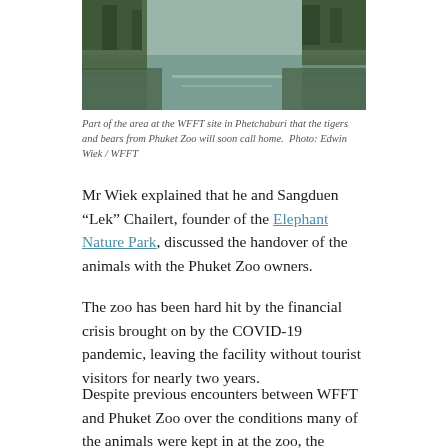[Figure (photo): Aerial or ground-level view of a waterway or river with vegetation and trees reflecting in the water, at the WFFT site in Phetchaburi, Thailand.]
Part of the area at the WFFT site in Phetchaburi that the tigers and bears from Phuket Zoo will soon call home. Photo: Edwin Wiek / WFFT
Mr Wiek explained that he and Sangduen “Lek” Chailert, founder of the Elephant Nature Park, discussed the handover of the animals with the Phuket Zoo owners.
The zoo has been hard hit by the financial crisis brought on by the COVID-19 pandemic, leaving the facility without tourist visitors for nearly two years.
Despite previous encounters between WFFT and Phuket Zoo over the conditions many of the animals were kept in at the zoo, the parties set aside any